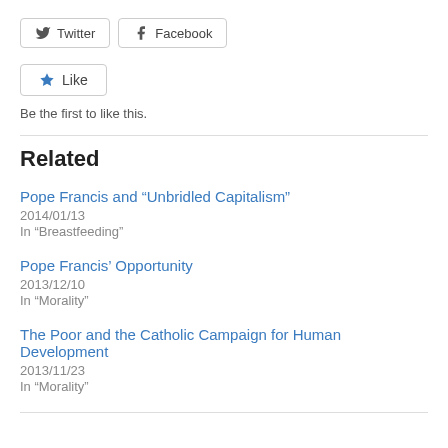[Figure (other): Twitter share button with bird icon]
[Figure (other): Facebook share button with f icon]
[Figure (other): Like button with star icon]
Be the first to like this.
Related
Pope Francis and “Unbridled Capitalism”
2014/01/13
In “Breastfeeding”
Pope Francis’ Opportunity
2013/12/10
In “Morality”
The Poor and the Catholic Campaign for Human Development
2013/11/23
In “Morality”